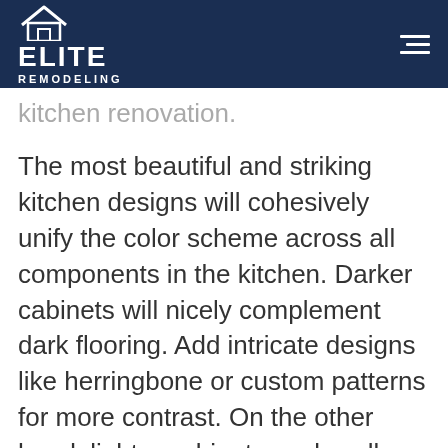[Figure (logo): Elite Remodeling logo with house icon on dark navy blue header background, with hamburger menu icon on the right]
kitchen renovation.
The most beautiful and striking kitchen designs will cohesively unify the color scheme across all components in the kitchen. Darker cabinets will nicely complement dark flooring. Add intricate designs like herringbone or custom patterns for more contrast. On the other hand, lighter cabinets work well with grey or dark flooring. This will allow the lighter cabinets to pop and stand out in your design as an eye-catching, key